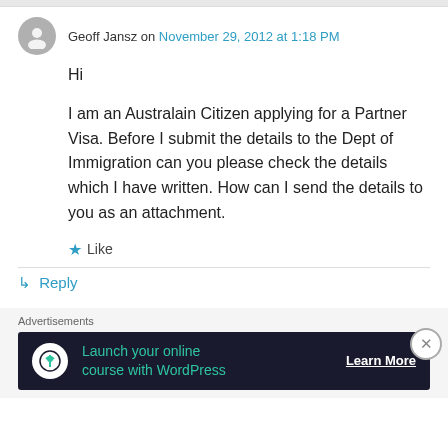Geoff Jansz on November 29, 2012 at 1:18 PM
Hi

I am an Australain Citizen applying for a Partner Visa. Before I submit the details to the Dept of Immigration can you please check the details which I have written. How can I send the details to you as an attachment.
★ Like
↳ Reply
Advertisements
[Figure (screenshot): Ad banner: Launch your online course with WordPress — Learn More]